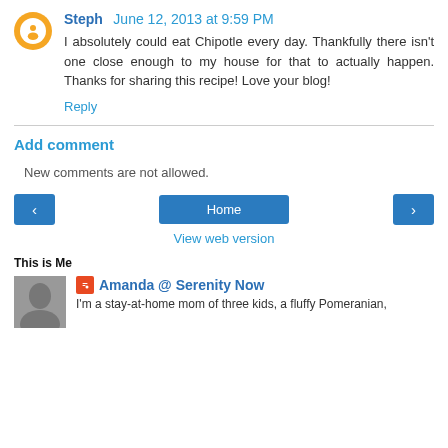Steph June 12, 2013 at 9:59 PM
I absolutely could eat Chipotle every day. Thankfully there isn't one close enough to my house for that to actually happen. Thanks for sharing this recipe! Love your blog!
Reply
Add comment
New comments are not allowed.
‹   Home   ›
View web version
This is Me
Amanda @ Serenity Now
I'm a stay-at-home mom of three kids, a fluffy Pomeranian,